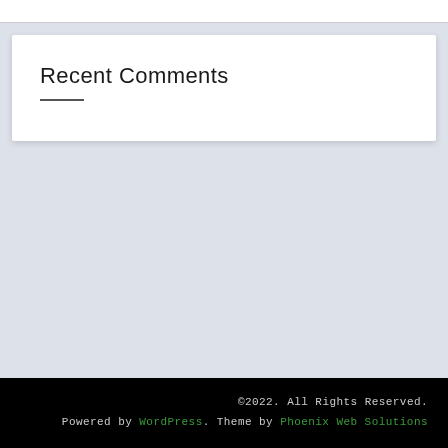Recent Comments
©2022. All Rights Reserved. Powered by WordPress. Theme by Phoenix Web Solutions